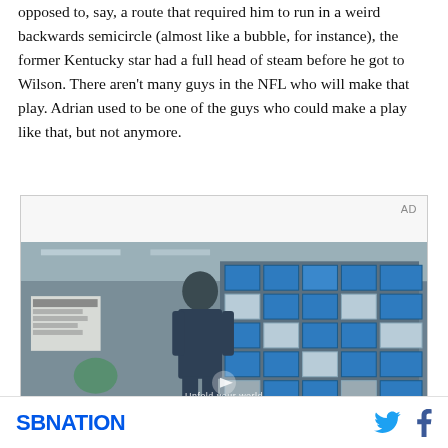opposed to, say, a route that required him to run in a weird backwards semicircle (almost like a bubble, for instance), the former Kentucky star had a full head of steam before he got to Wilson. There aren't many guys in the NFL who will make that play. Adrian used to be one of the guys who could make a play like that, but not anymore.
[Figure (screenshot): Advertisement box with 'AD' label and a video screenshot showing a young man in a denim jacket standing in front of a wall of blue glass tiles/windows, with 'Unfold your world' text overlay and a play button]
SBNATION